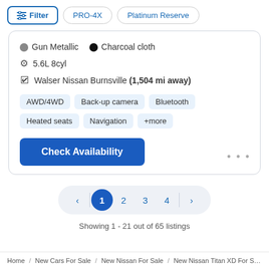Filter
PRO-4X
Platinum Reserve
Gun Metallic   Charcoal cloth
5.6L 8cyl
Walser Nissan Burnsville (1,504 mi away)
AWD/4WD
Back-up camera
Bluetooth
Heated seats
Navigation
+more
Check Availability
1  2  3  4
Showing 1 - 21 out of 65 listings
Home / New Cars For Sale / New Nissan For Sale / New Nissan Titan XD For Sale / New Nissan